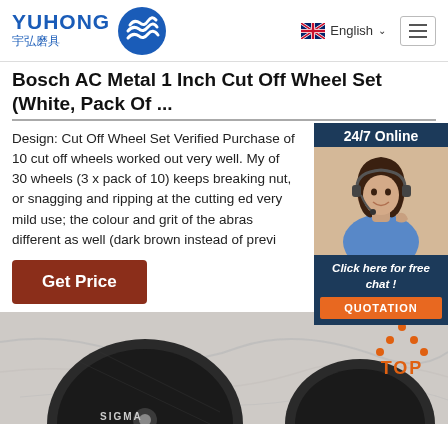[Figure (logo): YUHONG 宇弘磨具 company logo with blue wave icon]
English
Bosch AC Metal 1 Inch Cut Off Wheel Set (White, Pack Of ...
Design: Cut Off Wheel Set Verified Purchase of 10 cut off wheels worked out very well. My of 30 wheels (3 x pack of 10) keeps breaking nut, or snagging and ripping at the cutting ed very mild use; the colour and grit of the abras different as well (dark brown instead of previ
[Figure (photo): Customer service representative with headset - 24/7 Online chat widget with QUOTATION button]
Get Price
[Figure (photo): Dark abrasive cut-off wheels on marble surface with TOP navigation button in orange]